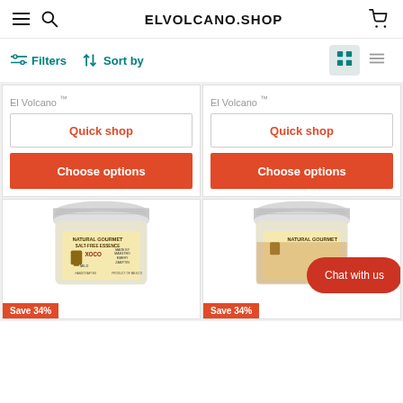ELVOLCANO.SHOP
Filters  Sort by
El Volcano ™
Quick shop
Choose options
El Volcano ™
Quick shop
Choose options
[Figure (photo): Jar of El Volcano Natural Gourmet Salt-Free Essence XOCO product, mild, handcrafted, product of Mexico]
Save 34%
[Figure (photo): Jar of El Volcano Natural Gourmet product]
Save 34%
Chat with us